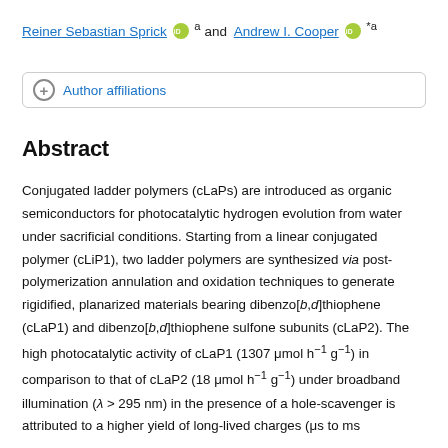Reiner Sebastian Sprick [ORCID] a and Andrew I. Cooper [ORCID] *a
Author affiliations
Abstract
Conjugated ladder polymers (cLaPs) are introduced as organic semiconductors for photocatalytic hydrogen evolution from water under sacrificial conditions. Starting from a linear conjugated polymer (cLiP1), two ladder polymers are synthesized via post-polymerization annulation and oxidation techniques to generate rigidified, planarized materials bearing dibenzo[b,d]thiophene (cLaP1) and dibenzo[b,d]thiophene sulfone subunits (cLaP2). The high photocatalytic activity of cLaP1 (1307 μmol h⁻¹ g⁻¹) in comparison to that of cLaP2 (18 μmol h⁻¹ g⁻¹) under broadband illumination (λ > 295 nm) in the presence of a hole-scavenger is attributed to a higher yield of long-lived charges (μs to ms